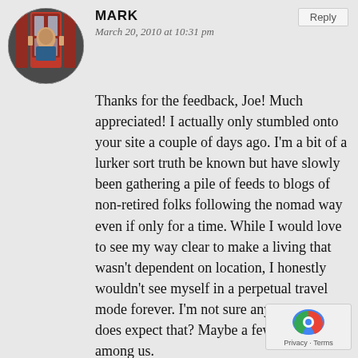MARK
March 20, 2010 at 10:31 pm
Thanks for the feedback, Joe! Much appreciated! I actually only stumbled onto your site a couple of days ago. I'm a bit of a lurker sort truth be known but have slowly been gathering a pile of feeds to blogs of non-retired folks following the nomad way even if only for a time. While I would love to see my way clear to make a living that wasn't dependent on location, I honestly wouldn't see myself in a perpetual travel mode forever. I'm not sure anyone actually does expect that? Maybe a few gypsies are among us.

I do enjoy some general handyman activities, but yes, this is not the time to
[Figure (photo): Circular avatar photo of Mark, showing a person in front of a red British phone booth.]